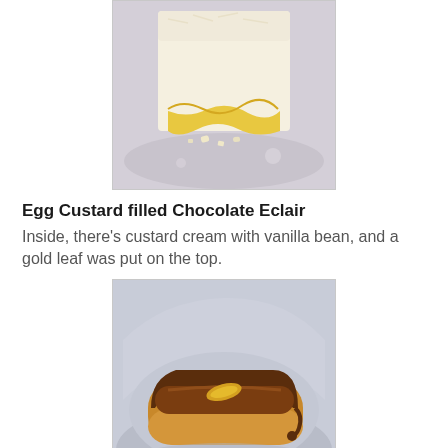[Figure (photo): Close-up photo of a white/cream colored dessert (likely a custard or cream-filled pastry) on a plate, partially broken open showing the interior]
Egg Custard filled Chocolate Eclair
Inside, there's custard cream with vanilla bean, and a gold leaf was put on the top.
[Figure (photo): Photo of a chocolate eclair with glossy chocolate glaze on top and a small gold leaf decoration, resting on a plate]